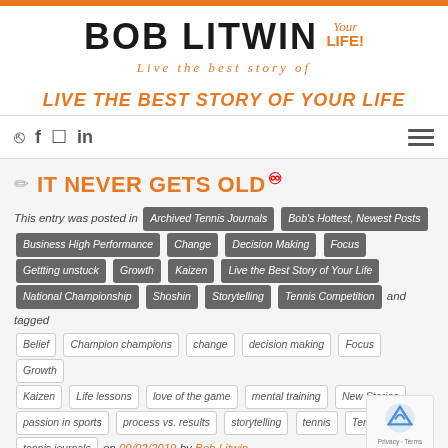BOB LITWIN Your LIFE! Live the best story of
LIVE THE BEST STORY OF YOUR LIFE
IT NEVER GETS OLD
This entry was posted in Archived Tennis Journals, Bob's Hottest, Newest Posts, Business High Performance, Change, Decision Making, Focus, Gettting unstuck, Growth, Kaizen, Live the Best Story of Your Life, National Championship, Shoshin, Storytelling, Tennis Competition and tagged Belief, Champion champions, change, decision making, Focus, Growth, Kaizen, Life lessons, love of the game, mental training, New Stories, passion in sports, process vs. results, storytelling, tennis, Tennis Con... tennis journals on 09/02/2019 by Bob Litwin